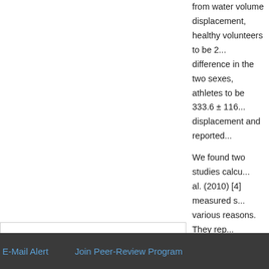from water volume displacement, healthy volunteers to be 2... difference in the two sexes, athletes to be 333.6 ± 116... displacement and reported...
We found two studies cal... al. (2010) [4] measured s... various reasons. They rep... the volume to be 161.42 ± ... [29] measured splenic vol... ± 54.91 cm3 in males, 11... males to be 196.95 ± 46... two sexes. We have also t...
Top
ABSTRACT
Introduction
Materials and Methods
Results
Discussion
5. Conclusion
We have proved...
E-Mail Alert   Join Peer-Review Program